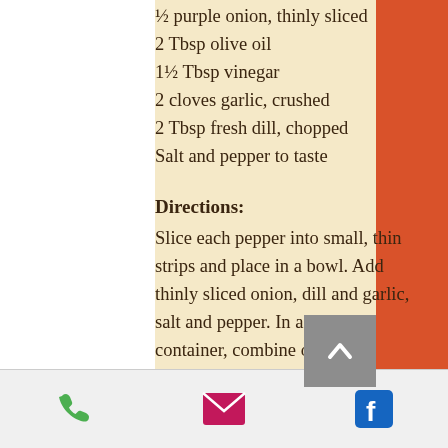½ purple onion, thinly sliced
2 Tbsp olive oil
1½ Tbsp vinegar
2 cloves garlic, crushed
2 Tbsp fresh dill, chopped
Salt and pepper to taste
Directions:
Slice each pepper into small, thin strips and place in a bowl. Add thinly sliced onion, dill and garlic, salt and pepper. In a small container, combine oil and vinegar. Shake well and pour over peppers. Mix and serve. Can be made up to a day before serving and kept in the fridge.
[Figure (other): Phone icon (green)]
[Figure (other): Email/envelope icon (pink/magenta)]
[Figure (other): Facebook icon (blue)]